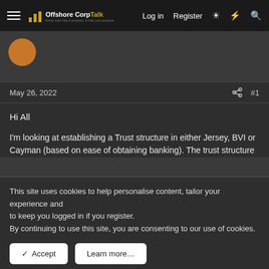OffshoreCorpTalk — Log in  Register
May 26, 2022  #1
Hi All
I'm looking at establishing a Trust structure in either Jersey, BVI or Cayman (based on ease of obtaining banking). The trust structure
This site uses cookies to help personalise content, tailor your experience and to keep you logged in if you register.
By continuing to use this site, you are consenting to our use of cookies.
[Figure (screenshot): Cookie consent buttons: Accept and Learn more...]
[Figure (screenshot): Advertisement banner for DLS Dubai: Bank Account Dubai with CLICK HERE button]